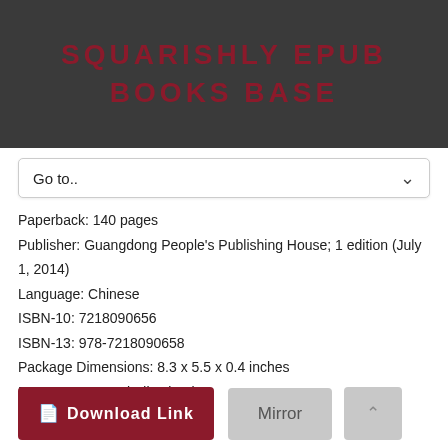SQUARISHLY EPUB BOOKS BASE
Go to..
Paperback: 140 pages
Publisher: Guangdong People's Publishing House; 1 edition (July 1, 2014)
Language: Chinese
ISBN-10: 7218090656
ISBN-13: 978-7218090658
Package Dimensions: 8.3 x 5.5 x 0.4 inches
Format: PDF ePub djvu book
Download Link
Mirror